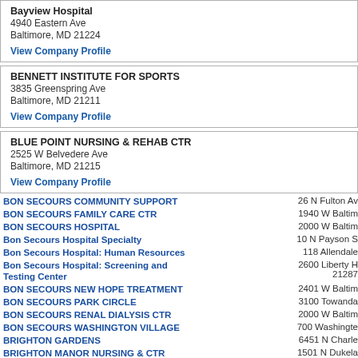Bayview Hospital
4940 Eastern Ave
Baltimore, MD 21224
View Company Profile
BENNETT INSTITUTE FOR SPORTS
3835 Greenspring Ave
Baltimore, MD 21211
View Company Profile
BLUE POINT NURSING & REHAB CTR
2525 W Belvedere Ave
Baltimore, MD 21215
View Company Profile
BON SECOURS COMMUNITY SUPPORT — 26 N Fulton Av
BON SECOURS FAMILY CARE CTR — 1940 W Baltim
BON SECOURS HOSPITAL — 2000 W Baltim
Bon Secours Hospital Specialty — 10 N Payson S
Bon Secours Hospital: Human Resources — 118 Allendale
Bon Secours Hospital: Screening and Testing Center — 2600 Liberty H / 21287
BON SECOURS NEW HOPE TREATMENT — 2401 W Baltim
BON SECOURS PARK CIRCLE — 3100 Towanda
BON SECOURS RENAL DIALYSIS CTR — 2000 W Baltim
BON SECOURS WASHINGTON VILLAGE — 700 Washingte
BRIGHTON GARDENS — 6451 N Charle
BRIGHTON MANOR NURSING & CTR — 1501 N Dukela
CARE & HOUSEING-DISABLED — 4101 Fernhill A
CARING HANDS CARE FACILITY — PO Box 3331
CHRIST CHURCH HARBOR APTS — 600 Light St, B
Church Hospital Corporation — 100 N Broadwa
COMMUNITY & FAMILY HEALTH CTR — 1200 E Faye